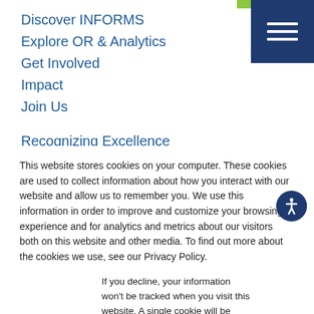Discover INFORMS
Explore OR & Analytics
Get Involved
Impact
Join Us
Recognizing Excellence
Professional Development
Resource Center
This website stores cookies on your computer. These cookies are used to collect information about how you interact with our website and allow us to remember you. We use this information in order to improve and customize your browsing experience and for analytics and metrics about our visitors both on this website and other media. To find out more about the cookies we use, see our Privacy Policy.
If you decline, your information won’t be tracked when you visit this website. A single cookie will be used in your browser to remember your preference not to be tracked.